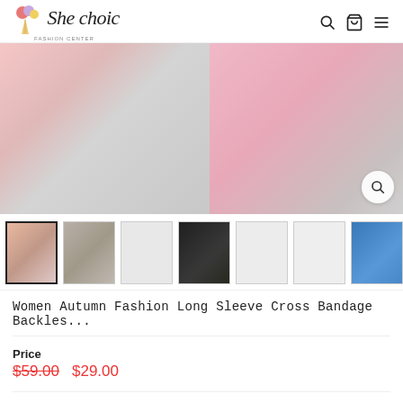[Figure (logo): She Choic fashion center logo with ice cream icon]
[Figure (photo): Main product image showing women's pink and white cross bandage backless top, two views side by side]
[Figure (photo): Thumbnail strip with 7 product images]
Women Autumn Fashion Long Sleeve Cross Bandage Backles...
Price
$59.00  $29.00
Free shipping on orders of $49+